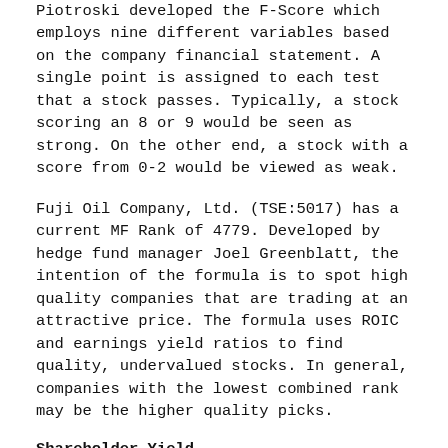Piotroski developed the F-Score which employs nine different variables based on the company financial statement. A single point is assigned to each test that a stock passes. Typically, a stock scoring an 8 or 9 would be seen as strong. On the other end, a stock with a score from 0-2 would be viewed as weak.
Fuji Oil Company, Ltd. (TSE:5017) has a current MF Rank of 4779. Developed by hedge fund manager Joel Greenblatt, the intention of the formula is to spot high quality companies that are trading at an attractive price. The formula uses ROIC and earnings yield ratios to find quality, undervalued stocks. In general, companies with the lowest combined rank may be the higher quality picks.
Shareholder Yield
We also note that Fuji Oil Company, Ltd. (TSE:5017) has a Shareholder Yield of 0.010909 and a Shareholder Yield (Mebane Faber) of -0.46149. The first value is calculated by adding the dividend yield to the percentage of